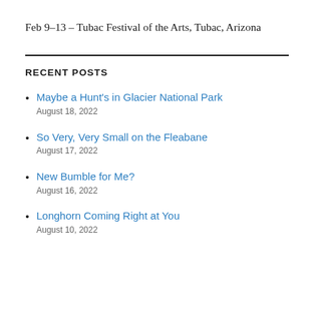Feb 9-13 – Tubac Festival of the Arts, Tubac, Arizona
RECENT POSTS
Maybe a Hunt's in Glacier National Park
August 18, 2022
So Very, Very Small on the Fleabane
August 17, 2022
New Bumble for Me?
August 16, 2022
Longhorn Coming Right at You
August 10, 2022